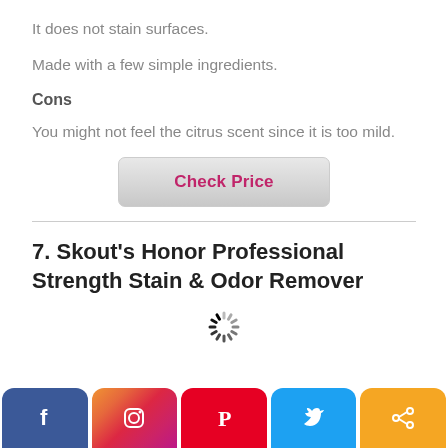It does not stain surfaces.
Made with a few simple ingredients.
Cons
You might not feel the citrus scent since it is too mild.
Check Price
7. Skout’s Honor Professional Strength Stain & Odor Remover
[Figure (other): Loading spinner icon]
[Figure (other): Social media share bar with Facebook, Instagram, Pinterest, Twitter, and Share buttons]